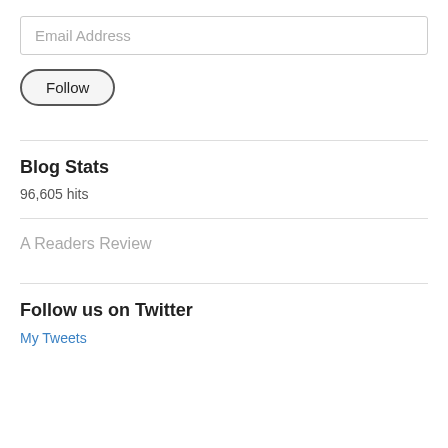Email Address
Follow
Blog Stats
96,605 hits
A Readers Review
Follow us on Twitter
My Tweets